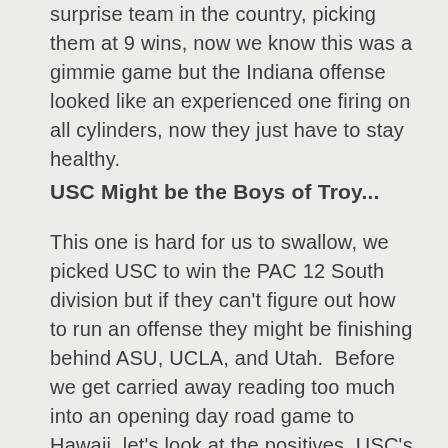surprise team in the country, picking them at 9 wins, now we know this was a gimmie game but the Indiana offense looked like an experienced one firing on all cylinders, now they just have to stay healthy.
USC Might be the Boys of Troy...
This one is hard for us to swallow, we picked USC to win the PAC 12 South division but if they can't figure out how to run an offense they might be finishing behind ASU, UCLA, and Utah. Before we get carried away reading too much into an opening day road game to Hawaii, let's look at the positives. USC's defense will keep them in games, at the start of the game USC looked like a classic team that